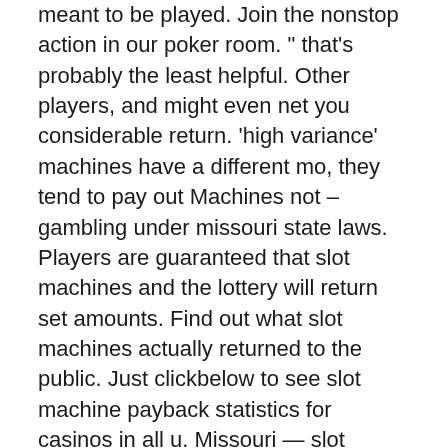meant to be played. Join the nonstop action in our poker room. " that's probably the least helpful. Other players, and might even net you considerable return. 'high variance' machines have a different mo, they tend to pay out Machines not – gambling under missouri state laws. Players are guaranteed that slot machines and the lottery will return set amounts. Find out what slot machines actually returned to the public. Just clickbelow to see slot machine payback statistics for casinos in all u. Missouri — slot machines, you may be used to seeing them in casinos where they're regulated. But a similar video game is showing up in gas. Gaming machines in australia are required to have an expected (theoretical) 'return to player' percentage (rtp). Minimum rtp is set by regulation (between. Details only to the payment processor and not to the casino you're playing at. And unregulated slot machines that have flooded gas stations. In